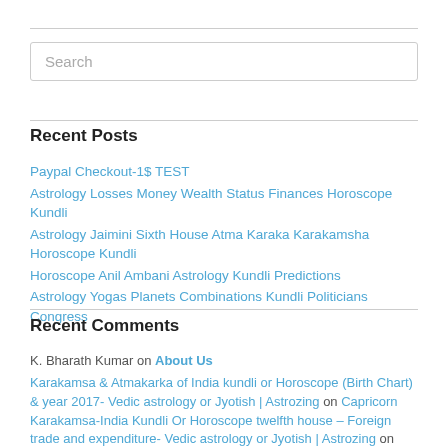Search
Recent Posts
Paypal Checkout-1$ TEST
Astrology Losses Money Wealth Status Finances Horoscope Kundli
Astrology Jaimini Sixth House Atma Karaka Karakamsha Horoscope Kundli
Horoscope Anil Ambani Astrology Kundli Predictions
Astrology Yogas Planets Combinations Kundli Politicians Congress
Recent Comments
K. Bharath Kumar on About Us
Karakamsa & Atmakarka of India kundli or Horoscope (Birth Chart) & year 2017- Vedic astrology or Jyotish | Astrozing on Capricorn Karakamsa-India Kundli Or Horoscope twelfth house – Foreign trade and expenditure- Vedic astrology or Jyotish | Astrozing on Your FREE & Personalized Daily Horoscope Predictions !
Demonetization Indian Currency notes –Kundli or Horoscope(Birth Chart)